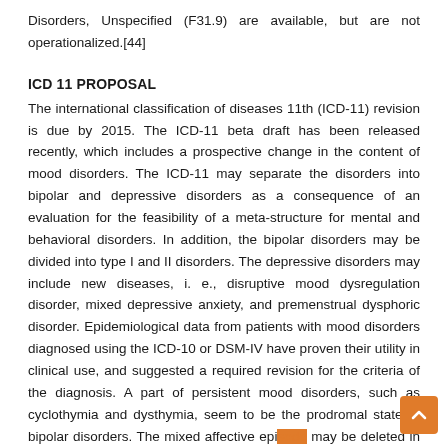Disorders, Unspecified (F31.9) are available, but are not operationalized.[44]
ICD 11 PROPOSAL
The international classification of diseases 11th (ICD-11) revision is due by 2015. The ICD-11 beta draft has been released recently, which includes a prospective change in the content of mood disorders. The ICD-11 may separate the disorders into bipolar and depressive disorders as a consequence of an evaluation for the feasibility of a meta-structure for mental and behavioral disorders. In addition, the bipolar disorders may be divided into type I and II disorders. The depressive disorders may include new diseases, i. e., disruptive mood dysregulation disorder, mixed depressive anxiety, and premenstrual dysphoric disorder. Epidemiological data from patients with mood disorders diagnosed using the ICD-10 or DSM-IV have proven their utility in clinical use, and suggested a required revision for the criteria of the diagnosis. A part of persistent mood disorders, such as cyclothymia and dysthymia, seem to be the prodromal state of bipolar disorders. The mixed affective episode may be deleted in the new version, because data also indicate that this episode is a rare clinical state. Moreover, it appears that patients